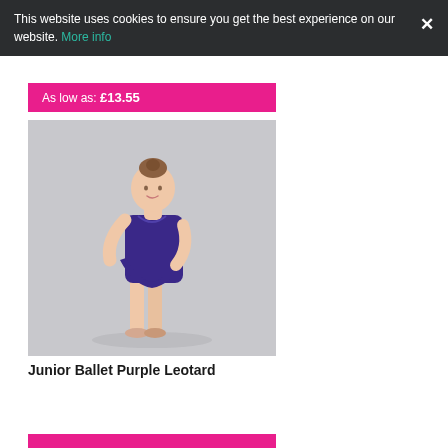This website uses cookies to ensure you get the best experience on our website. More info ×
As low as: £13.55
[Figure (photo): A young girl wearing a purple ballet leotard with a wrap skirt, standing in ballet pose against a light grey background, wearing ballet slippers.]
Junior Ballet Purple Leotard